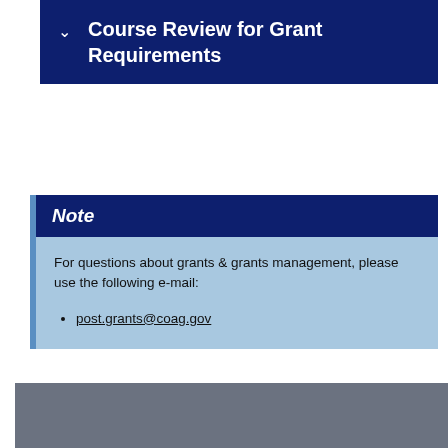Course Review for Grant Requirements
Note
For questions about grants & grants management, please use the following e-mail:
post.grants@coag.gov